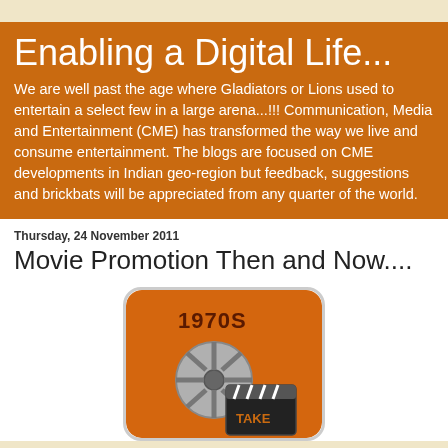Enabling a Digital Life...
We are well past the age where Gladiators or Lions used to entertain a select few in a large arena...!!! Communication, Media and Entertainment (CME) has transformed the way we live and consume entertainment. The blogs are focused on CME developments in Indian geo-region but feedback, suggestions and brickbats will be appreciated from any quarter of the world.
Thursday, 24 November 2011
Movie Promotion Then and Now....
[Figure (illustration): Vintage-style illustration with orange rounded rectangle background showing '1970S' text and a film reel with clapperboard graphic]